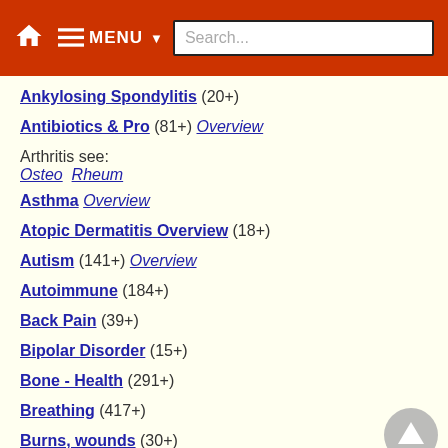MENU Search...
Ankylosing Spondylitis (20+)
Antibiotics & Pro (81+) Overview
Arthritis see: Osteo  Rheum
Asthma Overview
Atopic Dermatitis Overview (18+)
Autism (141+) Overview
Autoimmune (184+)
Back Pain (39+)
Bipolar Disorder (15+)
Bone - Health (291+)
Breathing (417+)
Burns, wounds (30+)